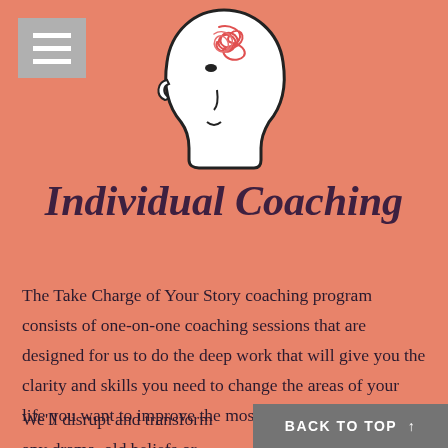[Figure (illustration): Line drawing of a human head profile facing right with a red/orange tangled scribble inside the top of the head, representing mental complexity or confusion.]
Individual Coaching
The Take Charge of Your Story coaching program consists of one-on-one coaching sessions that are designed for us to do the deep work that will give you the clarity and skills you need to change the areas of your life you want to improve the most.
We'll disrupt and transform any drama, old beliefs or habits th...
BACK TO TOP ↑